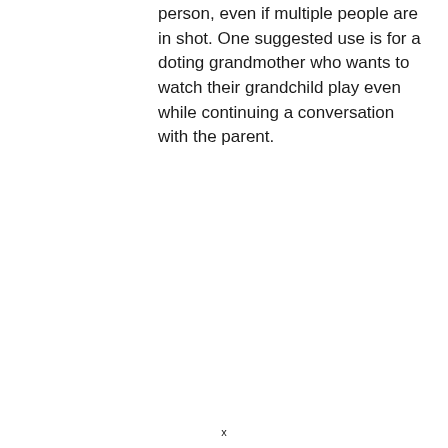person, even if multiple people are in shot. One suggested use is for a doting grandmother who wants to watch their grandchild play even while continuing a conversation with the parent.
x